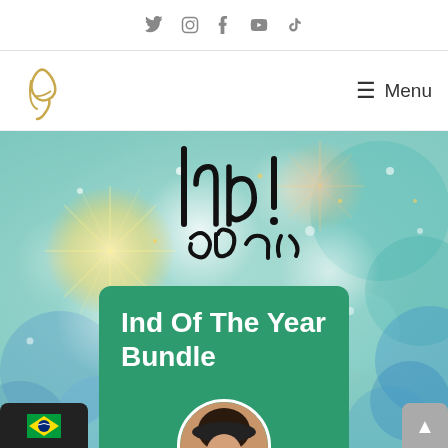Social icons: Twitter, Instagram, Tumblr, YouTube, TikTok
[Figure (logo): Stylized golden cursive logo mark]
Menu
[Figure (photo): Bokeh fireworks new year celebration background with black handwritten 'Ind!' text overlay and green card reading 'Ind Of The Year Bundle' with circular avatar photo of a person with glasses and dark hair]
Ind Of The Year Bundle